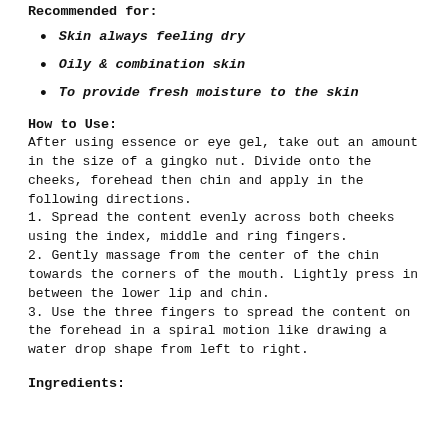Recommended for:
Skin always feeling dry
Oily & combination skin
To provide fresh moisture to the skin
How to Use:
After using essence or eye gel, take out an amount in the size of a gingko nut. Divide onto the cheeks, forehead then chin and apply in the following directions.
1. Spread the content evenly across both cheeks using the index, middle and ring fingers.
2. Gently massage from the center of the chin towards the corners of the mouth. Lightly press in between the lower lip and chin.
3. Use the three fingers to spread the content on the forehead in a spiral motion like drawing a water drop shape from left to right.
Ingredients: